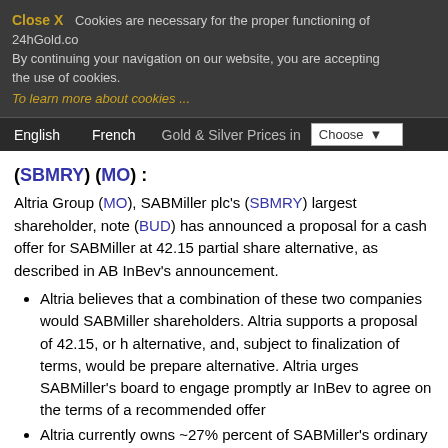Close X  Cookies are necessary for the proper functioning of 24hGold.com. By continuing your navigation on our website, you are accepting the use of cookies.
To learn more about cookies ...
English  French  Gold & Silver Prices in  Choose
(SBMRY) (MO) :
Altria Group (MO), SABMiller plc's (SBMRY) largest shareholder, noted that AB InBev (BUD) has announced a proposal for a cash offer for SABMiller at 42.15, or higher, with a partial share alternative, as described in AB InBev's announcement.
Altria believes that a combination of these two companies would create substantial value for SABMiller shareholders. Altria supports a proposal of 42.15, or higher, with a partial share alternative, and, subject to finalization of terms, would be prepared to elect the partial share alternative. Altria urges SABMiller's board to engage promptly and constructively with AB InBev to agree on the terms of a recommended offer
Altria currently owns ~27% percent of SABMiller's ordinary shares
4:31 am On The Wires (:WIRES) :
OmniVision Technologies (OVTI) announced that it has received notice from the Committee on Foreign Investment in the United States that it has concluded its review of the proposed acquisition of OmniVision
NETGEAR (NTGR) is launching two new quad-mode business-class Wireless Access Points that support four different modes of management.
KeepItSafe, providers of online disaster recovery and data backup